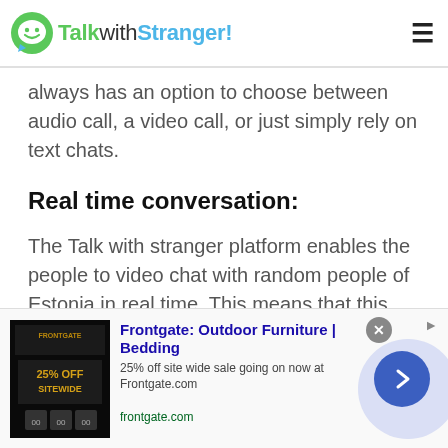TalkwithStranger!
always has an option to choose between audio call, a video call, or just simply rely on text chats.
Real time conversation:
The Talk with stranger platform enables the people to video chat with random people of Estonia in real time. This means that this app does not accommodate any bots or pre-recorded video or audio calls. Everything is done real time on the talkwithstranger platform. Moreover, the text messages that are sent through this platform are
[Figure (screenshot): Advertisement banner for Frontgate: Outdoor Furniture | Bedding. Shows '25% OFF SITEWIDE' promotional image on left, ad title, description '25% off site wide sale going on now at Frontgate.com', URL 'frontgate.com', close button, and navigation arrow button.]